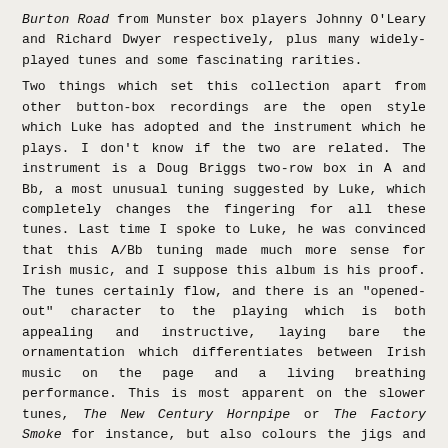Burton Road from Munster box players Johnny O'Leary and Richard Dwyer respectively, plus many widely-played tunes and some fascinating rarities.
Two things which set this collection apart from other button-box recordings are the open style which Luke has adopted and the instrument which he plays. I don't know if the two are related. The instrument is a Doug Briggs two-row box in A and Bb, a most unusual tuning suggested by Luke, which completely changes the fingering for all these tunes. Last time I spoke to Luke, he was convinced that this A/Bb tuning made much more sense for Irish music, and I suppose this album is his proof. The tunes certainly flow, and there is an "opened-out" character to the playing which is both appealing and instructive, laying bare the ornamentation which differentiates between Irish music on the page and a living breathing performance. This is most apparent on the slower tunes, The New Century Hornpipe or The Factory Smoke for instance, but also colours the jigs and reels.
Luke Daniels recorded these two dozen tracks together with Junior Davey on the Irish frame drum. Guitars and other accompaniment were added by Seamie O'Dowd and Dennis Cahill. The sound is full and powerful throughout, fully justifying the title. There are three selections of Luke's own tunes, plus several from other modern composers in the Irish idiom. There's also a large proportion of Scots tunes, both from the Ulster tradition and from the wider Scottish diaspora: The Iron Man, Lucy Campbell, Little Johnny's Hame, Gladstone's Reel and Milton are among these tartan